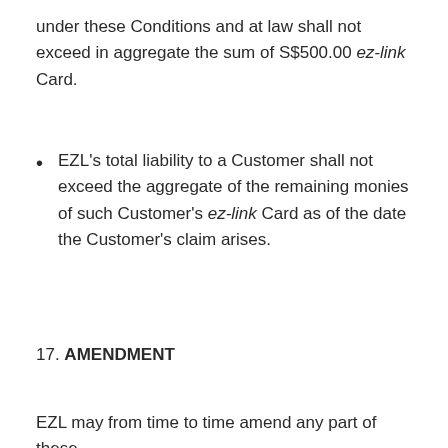under these Conditions and at law shall not exceed in aggregate the sum of S$500.00 ez-link Card.
EZL's total liability to a Customer shall not exceed the aggregate of the remaining monies of such Customer's ez-link Card as of the date the Customer's claim arises.
17. AMENDMENT
EZL may from time to time amend any part of these